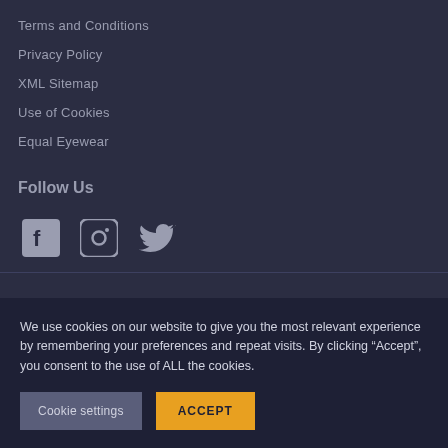Terms and Conditions
Privacy Policy
XML Sitemap
Use of Cookies
Equal Eyewear
Follow Us
[Figure (other): Social media icons: Facebook, Instagram, Twitter]
We use cookies on our website to give you the most relevant experience by remembering your preferences and repeat visits. By clicking “Accept”, you consent to the use of ALL the cookies.
Cookie settings   ACCEPT